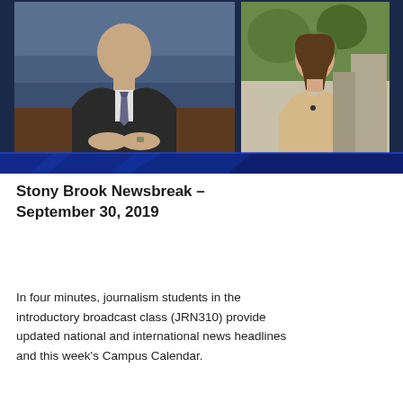[Figure (screenshot): A composite screenshot of a news broadcast. Left panel shows a man in a dark suit with a patterned tie seated at a desk with hands folded, in front of a blue TV studio background. Right panel shows a young woman with long dark hair wearing a beige top outdoors with trees in the background. Below the top panels is a dark navy blue lower-third graphic band with diagonal light streaks typical of news broadcast graphics.]
Stony Brook Newsbreak – September 30, 2019
In four minutes, journalism students in the introductory broadcast class (JRN310) provide updated national and international news headlines and this week's Campus Calendar.